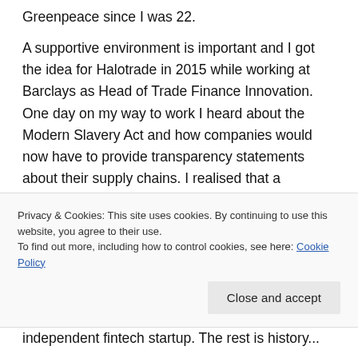Greenpeace since I was 22.
A supportive environment is important and I got the idea for Halotrade in 2015 while working at Barclays as Head of Trade Finance Innovation. One day on my way to work I heard about the Modern Slavery Act and how companies would now have to provide transparency statements about their supply chains. I realised that a technology solution, using the blockchain for trust, transparency and automation, combined with trade
Privacy & Cookies: This site uses cookies. By continuing to use this website, you agree to their use.
To find out more, including how to control cookies, see here: Cookie Policy
independent fintech startup. The rest is history...